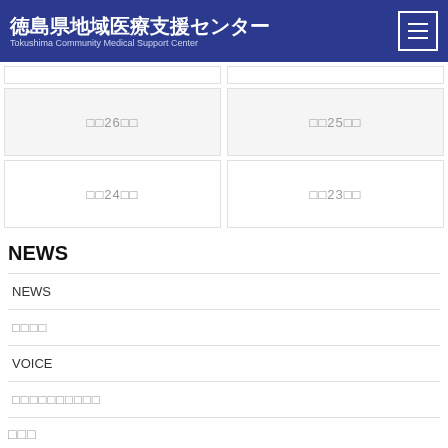徳島県地域医療支援センター Tokushima Community Medical Support Center
□□26□□
□□25□□
□□24□□
□□23□□
NEWS
NEWS
□□□□
VOICE
□□□□□□□□□□
□□□